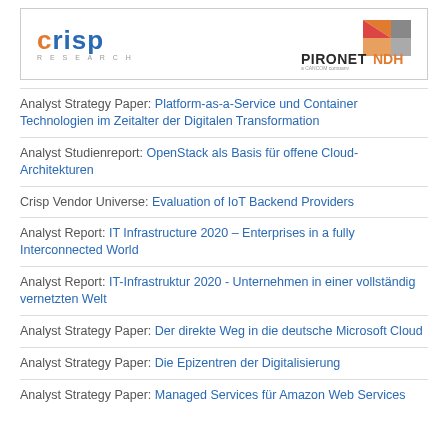[Figure (logo): Crisp Research and Pironet NDH logos side by side in a bordered box]
Analyst Strategy Paper: Platform-as-a-Service und Container Technologien im Zeitalter der Digitalen Transformation
Analyst Studienreport: OpenStack als Basis für offene Cloud-Architekturen
Crisp Vendor Universe: Evaluation of IoT Backend Providers
Analyst Report: IT Infrastructure 2020 – Enterprises in a fully Interconnected World
Analyst Report: IT-Infrastruktur 2020 - Unternehmen in einer vollständig vernetzten Welt
Analyst Strategy Paper: Der direkte Weg in die deutsche Microsoft Cloud
Analyst Strategy Paper: Die Epizentren der Digitalisierung
Analyst Strategy Paper: Managed Services für Amazon Web Services